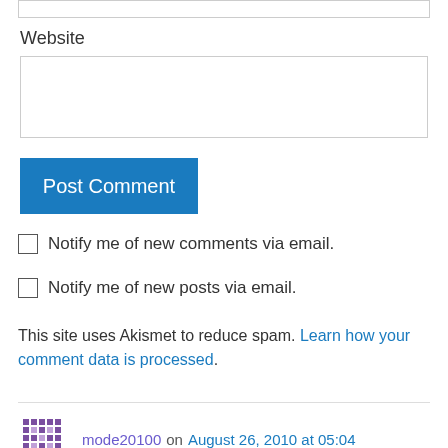Website
Post Comment
Notify me of new comments via email.
Notify me of new posts via email.
This site uses Akismet to reduce spam. Learn how your comment data is processed.
mode20100 on August 26, 2010 at 05:04
A+ would read again